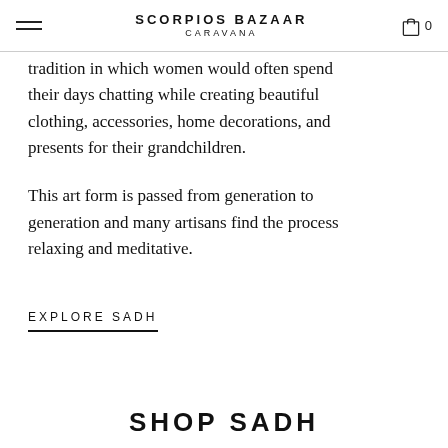SCORPIOS BAZAAR CARAVANA  0
tradition in which women would often spend their days chatting while creating beautiful clothing, accessories, home decorations, and presents for their grandchildren.
This art form is passed from generation to generation and many artisans find the process relaxing and meditative.
EXPLORE SADH
SHOP SADH